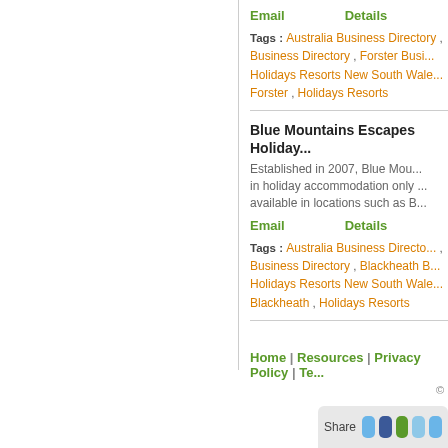Email    Details
Tags : Australia Business Directory , Business Directory , Forster Business Directory , Holidays Resorts New South Wales , Holidays Resorts Forster , Holidays Resorts
Blue Mountains Escapes Holidays Resorts
Established in 2007, Blue Mountains Escapes specialises in holiday accommodation only ... available in locations such as B...
Email    Details
Tags : Australia Business Directory , Business Directory , Blackheath B... , Holidays Resorts New South Wales , Holidays Resorts Blackheath , Holidays Resorts
Home | Resources | Privacy Policy | Te... | ©